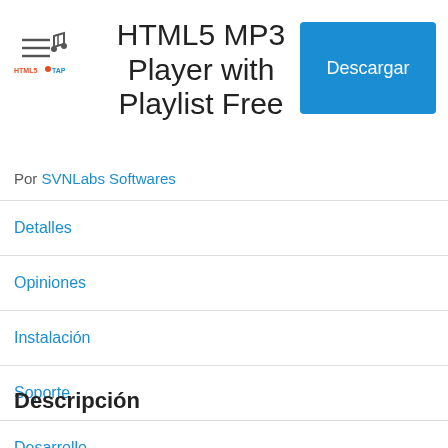[Figure (logo): HTML5 TAP logo with music note and menu icon]
HTML5 MP3 Player with Playlist Free
Por SVNLabs Softwares
Detalles
Opiniones
Instalación
Soporte
Desarrollo
Descripción